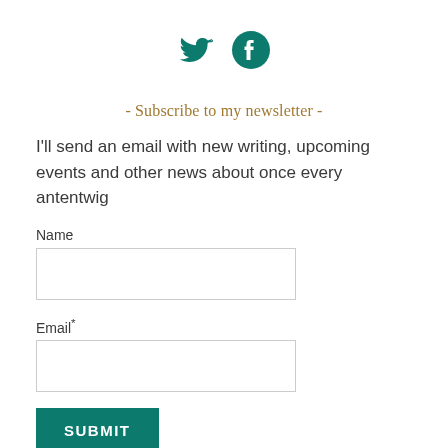[Figure (illustration): Twitter bird icon and Facebook circle icon in teal/dark green color, centered at top of page]
- Subscribe to my newsletter -
I'll send an email with new writing, upcoming events and other news about once every antentwig
Name
Email*
SUBMIT